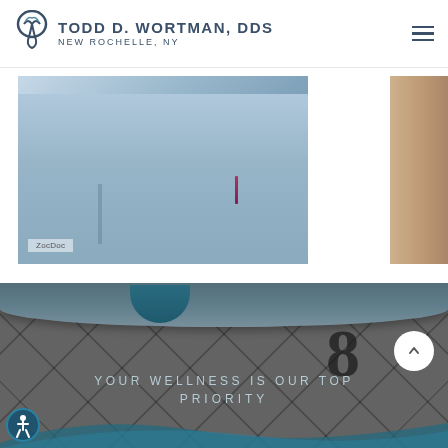TODD D. WORTMAN, DDS NEW ROCHELLE, NY
[Figure (photo): Partial view of a doctor in a light blue shirt with a pen in the pocket, ZocDoc watermark visible, and a partial view of an arm on the right side.]
[Figure (photo): Dark tiled surface background with a large number 8 visible, a rolled mat at the top, a scroll-to-top button (white circle with upward arrow), and text 'YOUR WELLNESS IS OUR TOP PRIORITY' in light teal letters overlaid at the bottom. A teal curved shape and an accessibility icon are also visible.]
YOUR WELLNESS IS OUR TOP PRIORITY